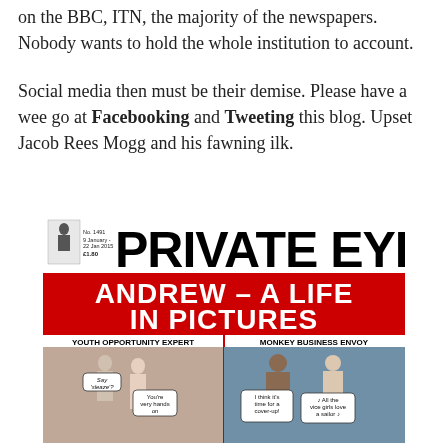on the BBC, ITN, the majority of the newspapers. Nobody wants to hold the whole institution to account.
Social media then must be their demise. Please have a wee go at Facebooking and Tweeting this blog. Upset Jacob Rees Mogg and his fawning ilk.
[Figure (other): Private Eye magazine cover No. 1491, 9 January - 22 Jan 2015, £1.80. Headline: ANDREW – A LIFE IN PICTURES. Shows two photos side by side. Left photo labeled YOUTH OPPORTUNITY EXPERT with speech bubbles reading 'Say please'? and 'You're very hands on'. Right photo labeled MONKEY BUSINESS ENVOY with speech bubbles reading 'I think it's time for a cover-up!' and '♪ All the vice girls love a sailor ♪'.]